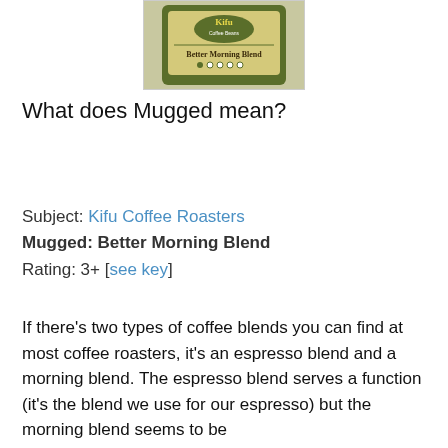[Figure (photo): Photo of Kifu Coffee Beans Better Morning Blend package/bag, shown from the front with logo and product name visible.]
What does Mugged mean?
Subject: Kifu Coffee Roasters
Mugged: Better Morning Blend
Rating: 3+ [see key]
If there's two types of coffee blends you can find at most coffee roasters, it's an espresso blend and a morning blend. The espresso blend serves a function (it's the blend we use for our espresso) but the morning blend seems to be